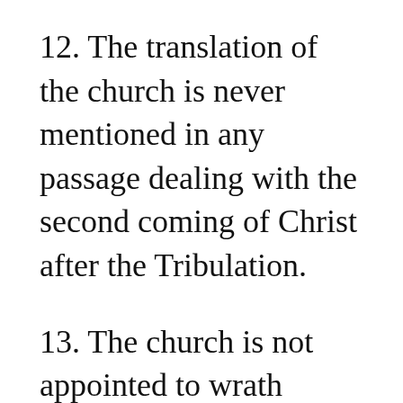12. The translation of the church is never mentioned in any passage dealing with the second coming of Christ after the Tribulation.
13. The church is not appointed to wrath (Rom. 5:9; 1 Thess. 1:9–10; 5:9). The church therefore cannot enter